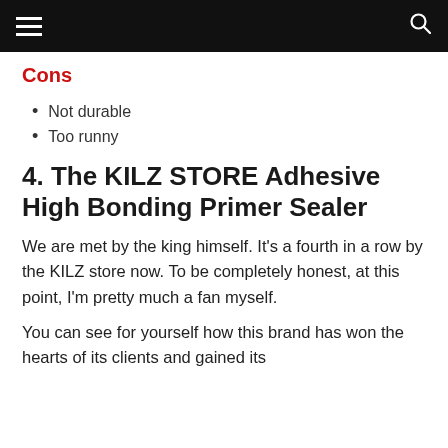[hamburger menu] [search icon]
Cons
Not durable
Too runny
4. The KILZ STORE Adhesive High Bonding Primer Sealer
We are met by the king himself. It's a fourth in a row by the KILZ store now. To be completely honest, at this point, I'm pretty much a fan myself.
You can see for yourself how this brand has won the hearts of its clients and gained its